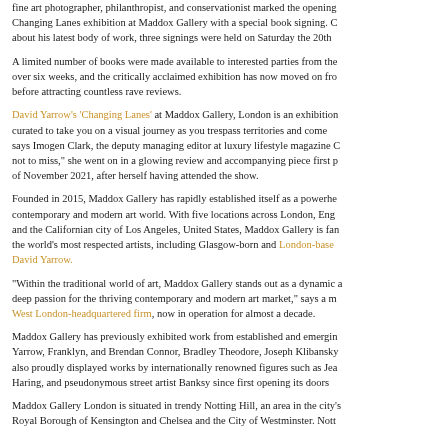fine art photographer, philanthropist, and conservationist marked the opening of his Changing Lanes exhibition at Maddox Gallery with a special book signing. Consumed about his latest body of work, three signings were held on Saturday the 20th
A limited number of books were made available to interested parties from the exhibition over six weeks, and the critically acclaimed exhibition has now moved on from London before attracting countless rave reviews.
David Yarrow's 'Changing Lanes' at Maddox Gallery, London is an exhibition curated to take you on a visual journey as you trespass territories and come face to face, says Imogen Clark, the deputy managing editor at luxury lifestyle magazine Condé Nast not to miss," she went on in a glowing review and accompanying piece first published of November 2021, after herself having attended the show.
Founded in 2015, Maddox Gallery has rapidly established itself as a powerhouse of the contemporary and modern art world. With five locations across London, England and the Californian city of Los Angeles, United States, Maddox Gallery is famous for the world's most respected artists, including Glasgow-born and London-based David Yarrow.
"Within the traditional world of art, Maddox Gallery stands out as a dynamic and deep passion for the thriving contemporary and modern art market," says a member of the West London-headquartered firm, now in operation for almost a decade.
Maddox Gallery has previously exhibited work from established and emerging artists. Yarrow, Franklyn, and Brendan Connor, Bradley Theodore, Joseph Klibansky; they have also proudly displayed works by internationally renowned figures such as Jean-Michel Basquiat Haring, and pseudonymous street artist Banksy since first opening its doors.
Maddox Gallery London is situated in trendy Notting Hill, an area in the city's prestigious Royal Borough of Kensington and Chelsea and the City of Westminster. Notting